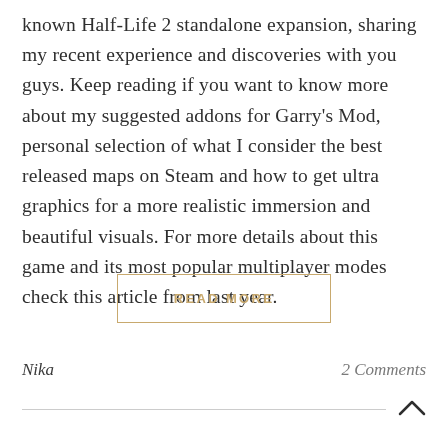known Half-Life 2 standalone expansion, sharing my recent experience and discoveries with you guys. Keep reading if you want to know more about my suggested addons for Garry's Mod, personal selection of what I consider the best released maps on Steam and how to get ultra graphics for a more realistic immersion and beautiful visuals. For more details about this game and its most popular multiplayer modes check this article from last year.
READ MORE
Nika
2 Comments